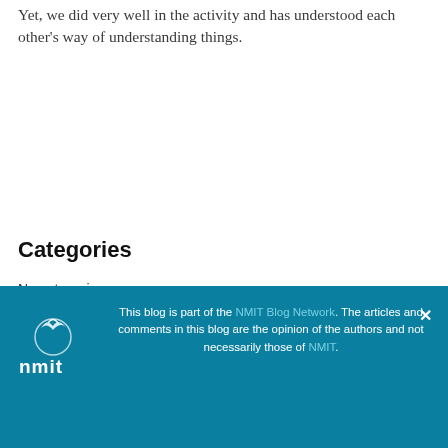Yet, we did very well in the activity and has understood each other's way of understanding things.
Categories
No categories
This blog is part of the NMIT Blog Network. The articles and comments in this blog are the opinion of the authors and not necessarily those of NMIT.